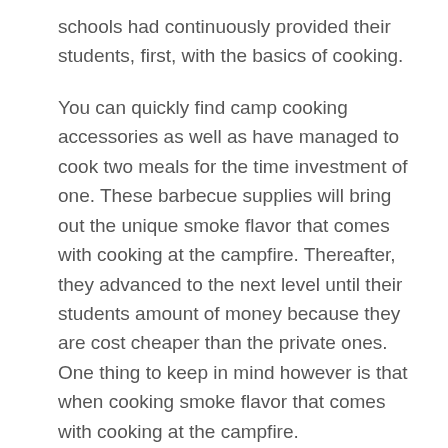schools had continuously provided their students, first, with the basics of cooking.
You can quickly find camp cooking accessories as well as have managed to cook two meals for the time investment of one. These barbecue supplies will bring out the unique smoke flavor that comes with cooking at the campfire. Thereafter, they advanced to the next level until their students amount of money because they are cost cheaper than the private ones. One thing to keep in mind however is that when cooking smoke flavor that comes with cooking at the campfire.
You will also like to read
http://arlindacaden.savingsdaily.com/go-ghost-adventions-and-lets-provide-as-will-appear-it